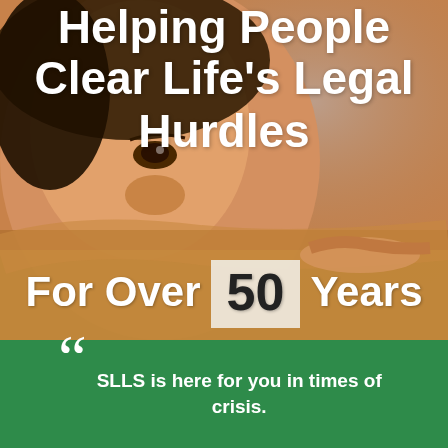[Figure (photo): Close-up photo of a young child resting their chin on arms folded over a wooden railing or desk, looking upward with big brown eyes. Background is blurred warm tones.]
Helping People Clear Life's Legal Hurdles
For Over 50 Years
SLLS is here for you in times of crisis.